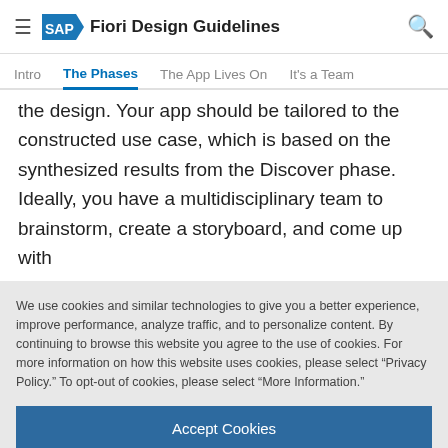SAP Fiori Design Guidelines
Intro | The Phases | The App Lives On | It's a Team
the design. Your app should be tailored to the constructed use case, which is based on the synthesized results from the Discover phase. Ideally, you have a multidisciplinary team to brainstorm, create a storyboard, and come up with
We use cookies and similar technologies to give you a better experience, improve performance, analyze traffic, and to personalize content. By continuing to browse this website you agree to the use of cookies. For more information on how this website uses cookies, please select “Privacy Policy.” To opt-out of cookies, please select “More Information.”
Accept Cookies
More Information
Privacy Policy | Powered by: TrustArc